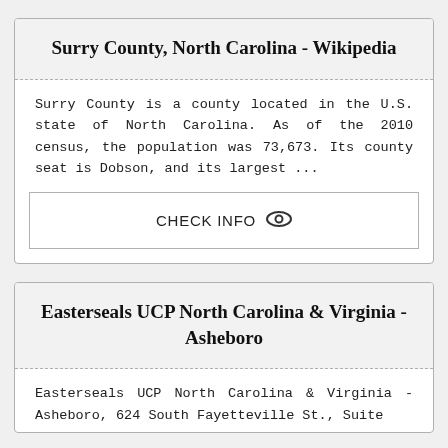Surry County, North Carolina - Wikipedia
Surry County is a county located in the U.S. state of North Carolina. As of the 2010 census, the population was 73,673. Its county seat is Dobson, and its largest ...
CHECK INFO
Easterseals UCP North Carolina & Virginia - Asheboro
Easterseals UCP North Carolina & Virginia - Asheboro, 624 South Fayetteville St., Suite